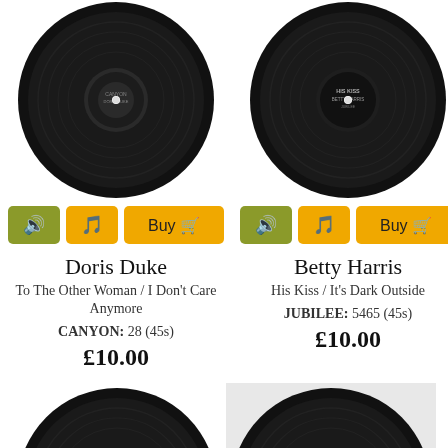[Figure (photo): Black vinyl 45rpm record, Doris Duke label]
[Figure (photo): Black vinyl 45rpm record, Betty Harris / His Kiss label]
Doris Duke
To The Other Woman / I Don't Care Anymore
CANYON: 28 (45s)
£10.00
Betty Harris
His Kiss / It's Dark Outside
JUBILEE: 5465 (45s)
£10.00
[Figure (photo): Black vinyl 45rpm record with colorful label, Bronco / Country Is Like This]
[Figure (photo): Black vinyl 45rpm record with white LeCam label]